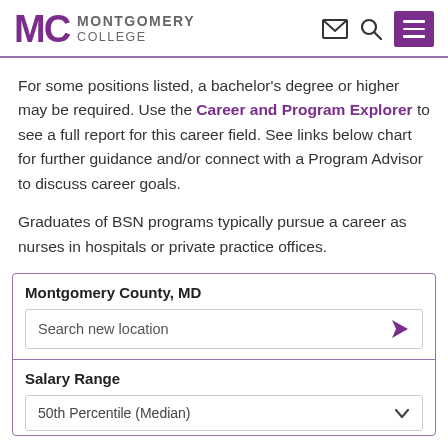Montgomery College
For some positions listed, a bachelor's degree or higher may be required. Use the Career and Program Explorer to see a full report for this career field. See links below chart for further guidance and/or connect with a Program Advisor to discuss career goals.
Graduates of BSN programs typically pursue a career as nurses in hospitals or private practice offices.
Montgomery County, MD
Search new location
Salary Range
50th Percentile (Median)